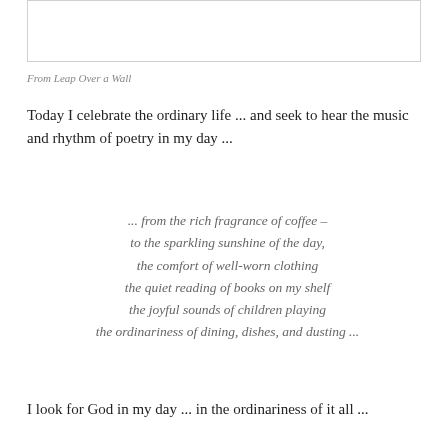[Figure (other): White rectangle with border, image placeholder at top of page]
From Leap Over a Wall
Today I celebrate the ordinary life ... and seek to hear the music and rhythm of poetry in my day ...
... from the rich fragrance of coffee –
to the sparkling sunshine of the day,
the comfort of well-worn clothing
the quiet reading of books on my shelf
the joyful sounds of children playing
the ordinariness of dining, dishes, and dusting ...
I look for God in my day ... in the ordinariness of it all ...